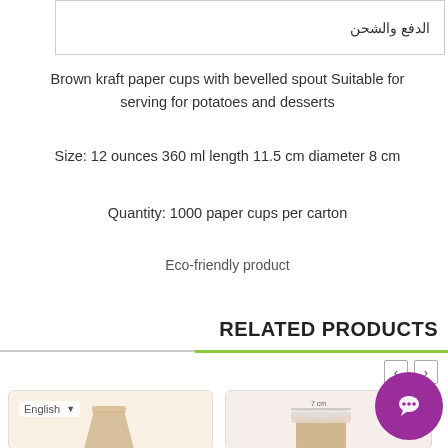الدفع والشحن
Brown kraft paper cups with bevelled spout Suitable for serving for potatoes and desserts
Size: 12 ounces 360 ml length 11.5 cm diameter 8 cm
Quantity: 1000 paper cups per carton
Eco-friendly product
RELATED PRODUCTS
[Figure (photo): Two product cards showing brown kraft paper cups, with navigation arrows and a purple chat bubble icon]